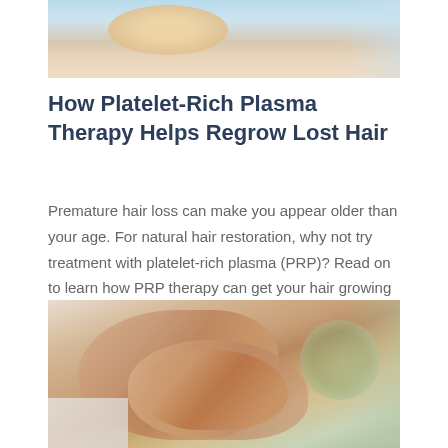[Figure (photo): Partial photo of a person (blonde hair visible) lying down, cropped at top of page]
How Platelet-Rich Plasma Therapy Helps Regrow Lost Hair
Premature hair loss can make you appear older than your age. For natural hair restoration, why not try treatment with platelet-rich plasma (PRP)? Read on to learn how PRP therapy can get your hair growing again.
[Figure (photo): Photo of a person in a white shirt scratching or examining their hands, with blurred green foliage in the background]